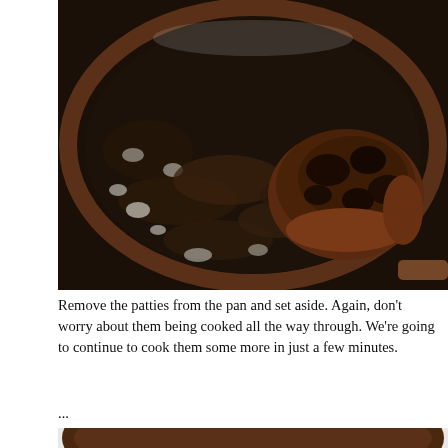[Figure (photo): A dark non-stick frying pan with a seared burger patty on the right side, surrounded by dark caramelized juices and bubbling oil/butter residue on a black pan surface.]
Remove the patties from the pan and set aside.  Again, don't worry about them being cooked all the way through.  We're going to continue to cook them some more in just a few minutes.
...
[Figure (photo): Bottom portion of a dark non-stick frying pan showing residue from cooking, partially cropped.]